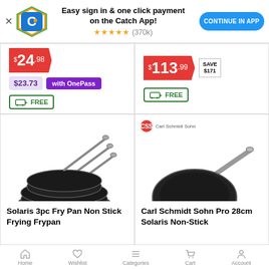[Figure (screenshot): Catch app promotional banner with logo, 'Easy sign in & one click payment on the Catch App!' text, star rating (370k), and 'CONTINUE IN APP' button]
$24.98 | $23.73 with OnePass | FREE delivery
$113.99 SAVE $171 | FREE delivery
[Figure (photo): Solaris 3pc Fry Pan Non Stick set of three black frying pans with silver handles]
Solaris 3pc Fry Pan Non Stick Frying Frypan
[Figure (photo): Carl Schmidt Sohn Pro 28cm Solaris Non-Stick frying pan with silver handle, Carl Schmidt Sohn brand logo visible]
Carl Schmidt Sohn Pro 28cm Solaris Non-Stick
Home  Wishlist  Categories  Cart  Account